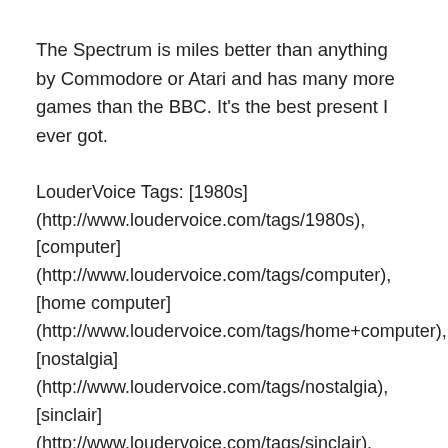The Spectrum is miles better than anything by Commodore or Atari and has many more games than the BBC. It's the best present I ever got.
LouderVoice Tags: [1980s](http://www.loudervoice.com/tags/1980s), [computer](http://www.loudervoice.com/tags/computer), [home computer](http://www.loudervoice.com/tags/home+computer), [nostalgia](http://www.loudervoice.com/tags/nostalgia), [sinclair](http://www.loudervoice.com/tags/sinclair), [speccy](http://www.loudervoice.com/tags/speccy), [spectrum](http://www.loudervoice.com/tags/spectrum) Rate this review at [LouderVoice](http://www.loudervoice.com/external/find?...